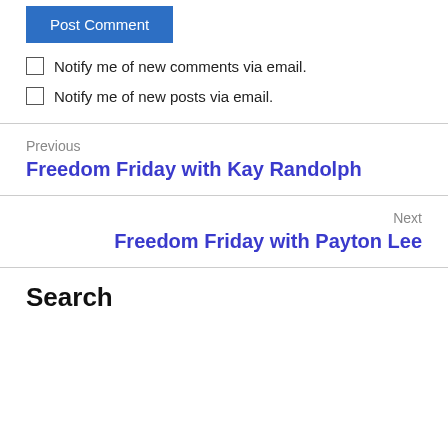Post Comment
Notify me of new comments via email.
Notify me of new posts via email.
Previous
Freedom Friday with Kay Randolph
Next
Freedom Friday with Payton Lee
Search